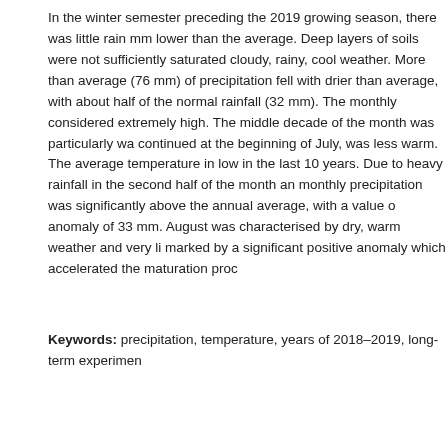In the winter semester preceding the 2019 growing season, there was little rain mm lower than the average. Deep layers of soils were not sufficiently saturated cloudy, rainy, cool weather. More than average (76 mm) of precipitation fell with drier than average, with about half of the normal rainfall (32 mm). The monthly considered extremely high. The middle decade of the month was particularly wa continued at the beginning of July, was less warm. The average temperature in low in the last 10 years. Due to heavy rainfall in the second half of the month an monthly precipitation was significantly above the annual average, with a value o anomaly of 33 mm. August was characterised by dry, warm weather and very li marked by a significant positive anomaly which accelerated the maturation proc
Keywords: precipitation, temperature, years of 2018–2019, long-term experimen